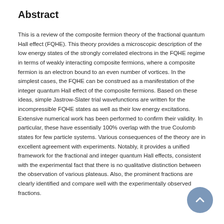Abstract
This is a review of the composite fermion theory of the fractional quantum Hall effect (FQHE). This theory provides a microscopic description of the low energy states of the strongly correlated electrons in the FQHE regime in terms of weakly interacting composite fermions, where a composite fermion is an electron bound to an even number of vortices. In the simplest cases, the FQHE can be construed as a manifestation of the integer quantum Hall effect of the composite fermions. Based on these ideas, simple Jastrow-Slater trial wavefunctions are written for the incompressible FQHE states as well as their low energy excitations. Extensive numerical work has been performed to confirm their validity. In particular, these have essentially 100% overlap with the true Coulomb states for few particle systems. Various consequences of the theory are in excellent agreement with experiments. Notably, it provides a unified framework for the fractional and integer quantum Hall effects, consistent with the experimental fact that there is no qualitative distinction between the observation of various plateaus. Also, the prominent fractions are clearly identified and compare well with the experimentally observed fractions.